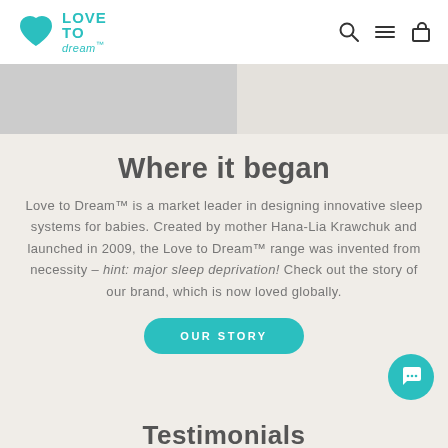Love to Dream™ — Logo and navigation header
[Figure (screenshot): Partial hero banner image — gray placeholder band showing a cropped image area]
Where it began
Love to Dream™ is a market leader in designing innovative sleep systems for babies. Created by mother Hana-Lia Krawchuk and launched in 2009, the Love to Dream™ range was invented from necessity – hint: major sleep deprivation! Check out the story of our brand, which is now loved globally.
OUR STORY
Testimonials